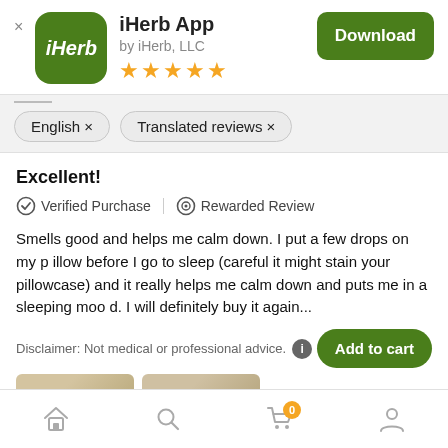[Figure (screenshot): iHerb app icon: green rounded square with white italic 'iHerb' text]
iHerb App
by iHerb, LLC
[Figure (other): Five gold star rating icons]
Download
English ×
Translated reviews ×
Excellent!
✓ Verified Purchase | ⊙ Rewarded Review
Smells good and helps me calm down. I put a few drops on my pillow before I go to sleep (careful it might stain your pillowcase) and it really helps me calm down and puts me in a sleeping mood. I will definitely buy it again...
Disclaimer: Not medical or professional advice.
Add to cart